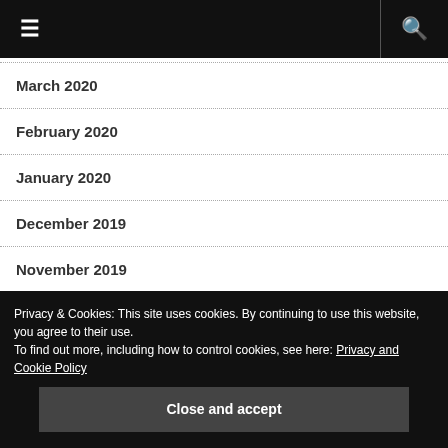≡  🔍
March 2020
February 2020
January 2020
December 2019
November 2019
October 2019
September 2019
Privacy & Cookies: This site uses cookies. By continuing to use this website, you agree to their use.
To find out more, including how to control cookies, see here: Privacy and Cookie Policy
Close and accept